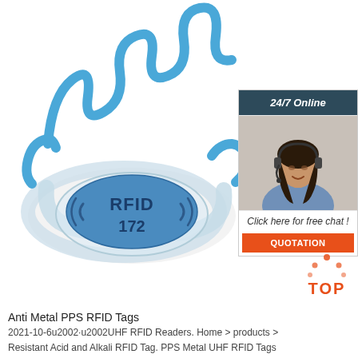[Figure (photo): Blue RFID silicone wristband with wavy antenna coil design, featuring a blue oval chip labeled '((RFID)) 172' in the center, on a white background]
[Figure (infographic): Online chat widget with dark header '24/7 Online', photo of a woman with headset, italic text 'Click here for free chat!', and orange QUOTATION button]
[Figure (logo): TOP logo with orange dots forming a crown/arrow shape above the word TOP in orange]
Anti Metal PPS RFID Tags
2021-10-6u2002·u2002UHF RFID Readers. Home > products > Resistant Acid and Alkali RFID Tag. PPS Metal UHF RFID Tags